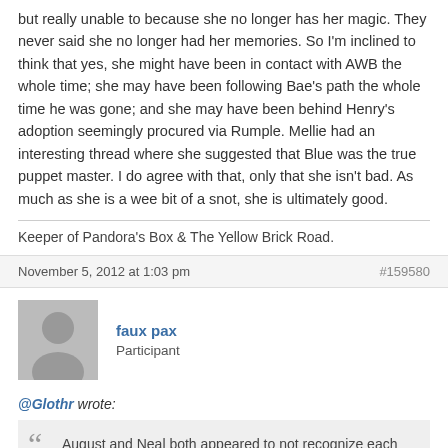but really unable to because she no longer has her magic. They never said she no longer had her memories. So I'm inclined to think that yes, she might have been in contact with AWB the whole time; she may have been following Bae's path the whole time he was gone; and she may have been behind Henry's adoption seemingly procured via Rumple. Mellie had an interesting thread where she suggested that Blue was the true puppet master. I do agree with that, only that she isn't bad. As much as she is a wee bit of a snot, she is ultimately good.
Keeper of Pandora's Box & The Yellow Brick Road.
November 5, 2012 at 1:03 pm
#159580
faux pax
Participant
@Glothr wrote:
August and Neal both appeared to not recognize each other. Therefore how would August know that whatever he had in the wooden box would convince Neal? To him, Neal was just a petty criminal from the Real World. So whatever he showed